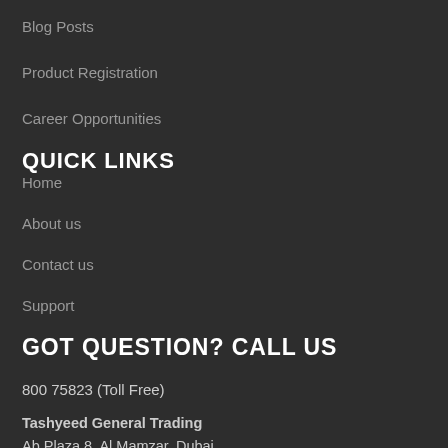Blog Posts
Product Registration
Career Opportunities
QUICK LINKS
Home
About us
Contact us
Support
GOT QUESTION? CALL US
800 75823 (Toll Free)
Tashyeed General Trading
Ab Plaza 8, Al Mamzar, Dubai
Email: info@shoppers-kart.com
Call: 800 75823 (Toll Free)